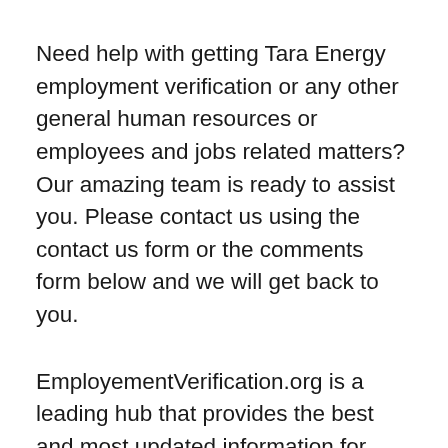Need help with getting Tara Energy employment verification or any other general human resources or employees and jobs related matters? Our amazing team is ready to assist you. Please contact us using the contact us form or the comments form below and we will get back to you.
EmployementVerification.org is a leading hub that provides the best and most updated information for Tara Energy Employment Verification and other leading companies. We are constantly working to ensure we provide